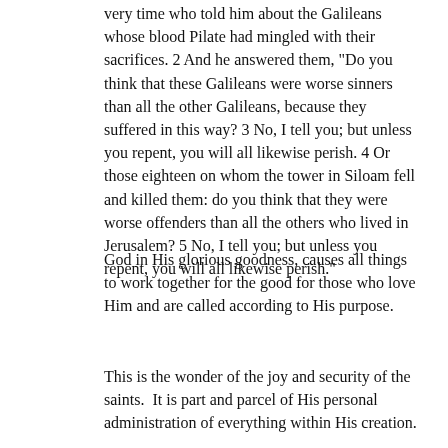very time who told him about the Galileans whose blood Pilate had mingled with their sacrifices. 2 And he answered them, "Do you think that these Galileans were worse sinners than all the other Galileans, because they suffered in this way? 3 No, I tell you; but unless you repent, you will all likewise perish. 4 Or those eighteen on whom the tower in Siloam fell and killed them: do you think that they were worse offenders than all the others who lived in Jerusalem? 5 No, I tell you; but unless you repent, you will all likewise perish."
God in His glorious goodness, causes all things to work together for the good for those who love Him and are called according to His purpose.
This is the wonder of the joy and security of the saints.  It is part and parcel of His personal administration of everything within His creation.